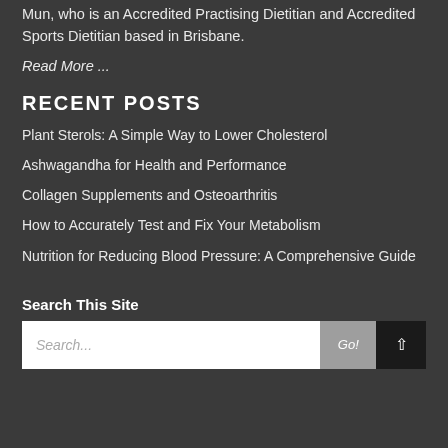Mun, who is an Accredited Practising Dietitian and Accredited Sports Dietitian based in Brisbane.
Read More ...
RECENT POSTS
Plant Sterols: A Simple Way to Lower Cholesterol
Ashwagandha for Health and Performance
Collagen Supplements and Osteoarthritis
How to Accurately Test and Fix Your Metabolism
Nutrition for Reducing Blood Pressure: A Comprehensive Guide
Search This Site